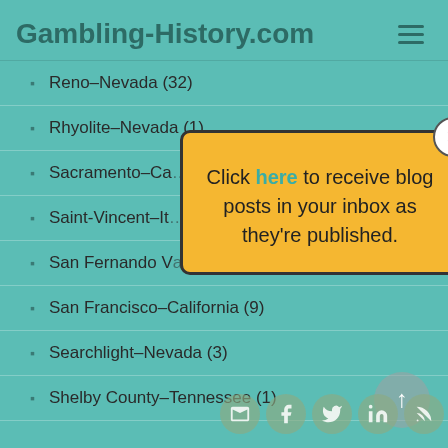Gambling-History.com
Reno–Nevada (32)
Rhyolite–Nevada (1)
Sacramento–Ca…
Saint-Vincent–It…
San Fernando Valley–California (1)
San Francisco–California (9)
Searchlight–Nevada (3)
Shelby County–Tennessee (1)
[Figure (other): Popup dialog with yellow background saying 'Click here to receive blog posts in your inbox as they're published.' with a close X button.]